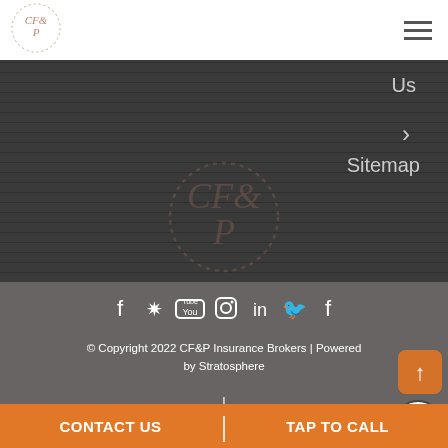[Figure (logo): CF&P Insurance Brokers circular logo with decorative border in rose/gold tones]
[Figure (other): Hamburger menu icon (three horizontal lines)]
Us
›
Sitemap
[Figure (logo): CF&P watermark logo in dark background area]
[Figure (other): Social media icons row: Facebook, Yelp, YouTube, Instagram, LinkedIn, Twitter, Facebook]
© Copyright 2022 CF&P Insurance Brokers | Powered by Stratosphere
|
Accessibility Statement
CONTACT US
TAP TO CALL